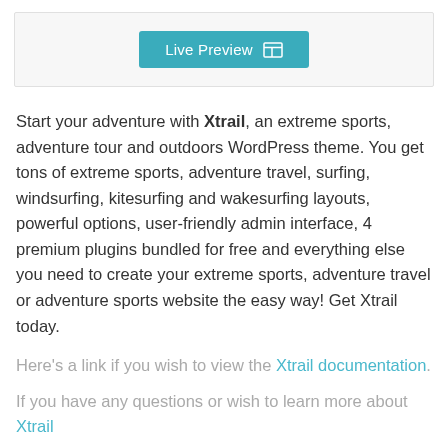[Figure (screenshot): A teal/cyan 'Live Preview' button with a grid/layout icon on the right, inside a light gray bordered box]
Start your adventure with Xtrail, an extreme sports, adventure tour and outdoors WordPress theme. You get tons of extreme sports, adventure travel, surfing, windsurfing, kitesurfing and wakesurfing layouts, powerful options, user-friendly admin interface, 4 premium plugins bundled for free and everything else you need to create your extreme sports, adventure travel or adventure sports website the easy way! Get Xtrail today.
Here's a link if you wish to view the Xtrail documentation.
If you have any questions or wish to learn more about Xtrail